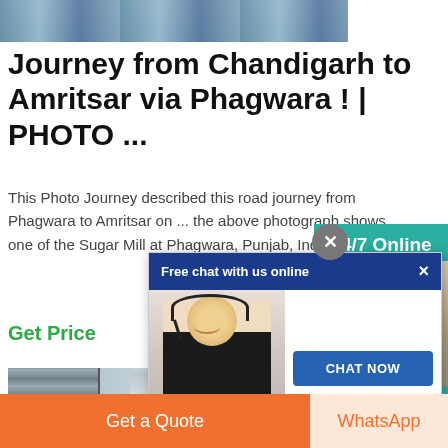[Figure (photo): Top partial photo showing industrial/sugar mill equipment with blue sky background]
Journey from Chandigarh to Amritsar via Phagwara ! | PHOTO ...
This Photo Journey described this road journey from Phagwara to Amritsar on ... the above photograph shows one of the Sugar Mill at Phagwara, Punjab, India.
Get Price
[Figure (photo): Chat popup overlay showing a female customer service agent with headset, with 'Free chat with us online' header and 'CHAT NOW' button]
[Figure (photo): Right side panel showing 24/7 Online banner with teal background and agent photo]
[Figure (photo): Bottom photo showing industrial building and large cylinder/silo structures at a sugar mill]
Have any requests, click here.
Quotation
Get a Quote
WhatsApp